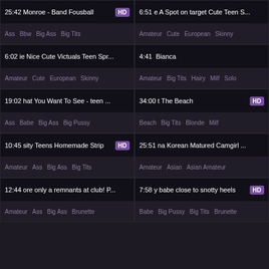25:42 Monroe - Band Fousball HD
Tags: Ass, Bbw, Big Ass, Big Tits
6:51 e A Spot on target Cute Teen S...
Tags: Amateur, Cute, European, Skinny
6:02 ie Nice Cute Victuals Teen Spr...
Tags: Amateur, Cute, European, Skinny
4:41 Bianca
Tags: Amateur, Big Tits, Hairy, Milf, Solo
19:02 hat You Want To See - teen ...
Tags: Ass, Babe, Big Ass, Big Pussy
34:00 t The Beach HD
Tags: Beach, Big Tits, Blonde, Milf
10:45 sity Teens Homemade Strip HD
Tags: Amateur, Ass, Big Ass, Big Tits
25:51 na Korean Matured Camgirl ...
Tags: Amateur, Asian, Asian Amateur
12:44 ore only a remnants at club! P...
Tags: Amateur, Ass, Big Ass, Brunette
7:58 y babe close to snotty heels HD
Tags: Babe, Big Pussy, Big Tits, Brunette